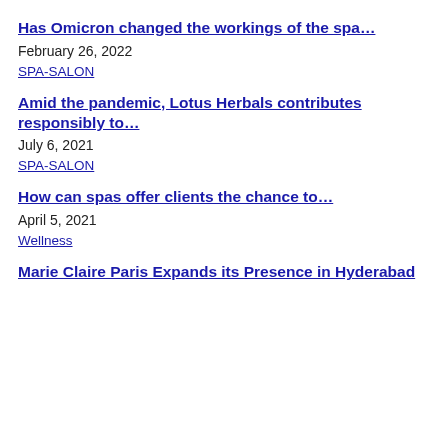Has Omicron changed the workings of the spa…
February 26, 2022
SPA-SALON
Amid the pandemic, Lotus Herbals contributes responsibly to…
July 6, 2021
SPA-SALON
How can spas offer clients the chance to…
April 5, 2021
Wellness
Marie Claire Paris Expands its Presence in Hyderabad